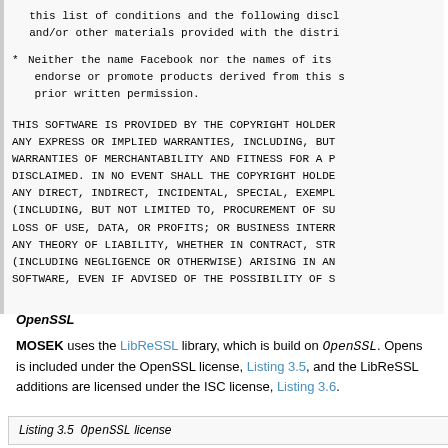this list of conditions and the following disclaimer and/or other materials provided with the distribution.
* Neither the name Facebook nor the names of its contributors may be used to endorse or promote products derived from this software without prior written permission.
THIS SOFTWARE IS PROVIDED BY THE COPYRIGHT HOLDERS AND CONTRIBUTORS AS IS AND ANY EXPRESS OR IMPLIED WARRANTIES, INCLUDING, BUT NOT LIMITED TO, THE IMPLIED WARRANTIES OF MERCHANTABILITY AND FITNESS FOR A PARTICULAR PURPOSE ARE DISCLAIMED. IN NO EVENT SHALL THE COPYRIGHT HOLDER OR CONTRIBUTORS BE LIABLE FOR ANY DIRECT, INDIRECT, INCIDENTAL, SPECIAL, EXEMPLARY, OR CONSEQUENTIAL DAMAGES (INCLUDING, BUT NOT LIMITED TO, PROCUREMENT OF SUBSTITUTE GOODS OR SERVICES; LOSS OF USE, DATA, OR PROFITS; OR BUSINESS INTERRUPTION) HOWEVER CAUSED AND ON ANY THEORY OF LIABILITY, WHETHER IN CONTRACT, STRICT LIABILITY, OR TORT (INCLUDING NEGLIGENCE OR OTHERWISE) ARISING IN ANY WAY OUT OF THE USE OF THIS SOFTWARE, EVEN IF ADVISED OF THE POSSIBILITY OF SUCH DAMAGE.
OpenSSL
MOSEK uses the LibReSSL library, which is build on OpenSSL. OpenSSL is included under the OpenSSL license, Listing 3.5, and the LibReSSL additions are licensed under the ISC license, Listing 3.6.
Listing 3.5  OpenSSL license